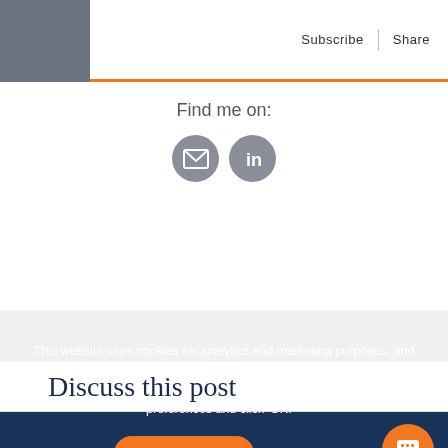Subscribe | Share
Find me on:
[Figure (illustration): Two circular social media icon buttons: email (envelope) and LinkedIn (in logo), both in gray]
Discuss this post
This website uses cookies for analytics and marketing purposes, and to improve user experience and functionality. Please see our Cookie Policy for more information. Click 'OK' to accept or update your preferences and click 'OK.' "